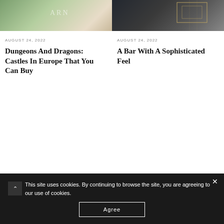[Figure (photo): Left article image: castle/chateau near water with greenery, partial text 'ARN' visible]
[Figure (photo): Right article image: dark background with gold/brass bar objects and geometric shapes]
AUGUST 24, 2022
Dungeons And Dragons: Castles In Europe That You Can Buy
AUGUST 24, 2022
A Bar With A Sophisticated Feel
This site uses cookies. By continuing to browse the site, you are agreeing to our use of cookies.
Agree